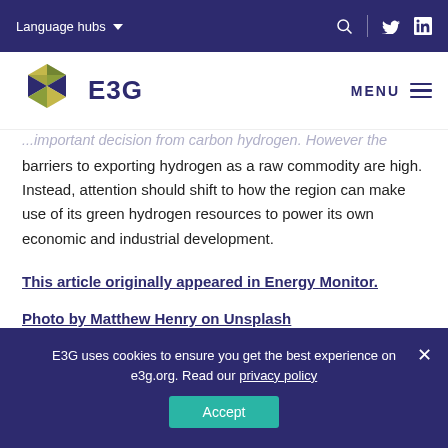Language hubs
...important decision from carbon hydrogen. However the barriers to exporting hydrogen as a raw commodity are high. Instead, attention should shift to how the region can make use of its green hydrogen resources to power its own economic and industrial development.
This article originally appeared in Energy Monitor.
Photo by Matthew Henry on Unsplash
E3G uses cookies to ensure you get the best experience on e3g.org. Read our privacy policy
Accept